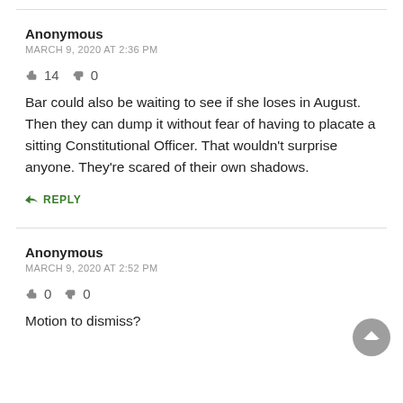Anonymous
MARCH 9, 2020 AT 2:36 PM
👍 14  👎 0
Bar could also be waiting to see if she loses in August. Then they can dump it without fear of having to placate a sitting Constitutional Officer. That wouldn't surprise anyone. They're scared of their own shadows.
↪ REPLY
Anonymous
MARCH 9, 2020 AT 2:52 PM
👍 0  👎 0
Motion to dismiss?